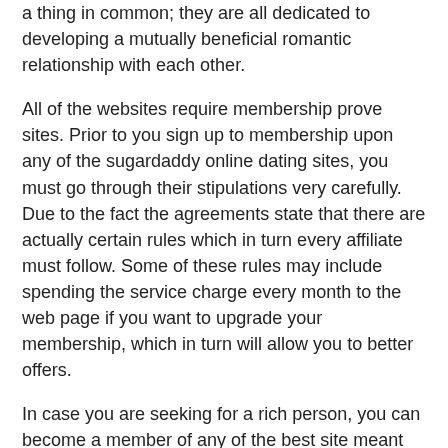a thing in common; they are all dedicated to developing a mutually beneficial romantic relationship with each other.
All of the websites require membership prove sites. Prior to you sign up to membership upon any of the sugardaddy online dating sites, you must go through their stipulations very carefully. Due to the fact the agreements state that there are actually certain rules which in turn every affiliate must follow. Some of these rules may include spending the service charge every month to the web page if you want to upgrade your membership, which in turn will allow you to better offers.
In case you are seeking for a rich person, you can become a member of any of the best site meant for sugar daddies. There are several men who search for a sugar baby, who are seeking for someone to share their time with and also for a long-term relationship. No matter what to get seeking for, you will be able to find someone on-line who shares the same comments as you do. Therefore , what are you waiting